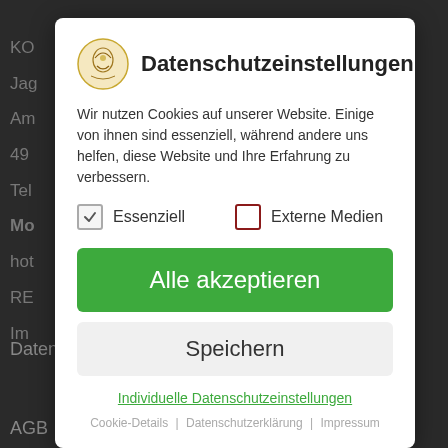KO
Jag
Am
49
Tel
Mo
hot
RE
Im
Datenschutz
AGB
FOLGEN SIE UNS
Datenschutzeinstellungen
Wir nutzen Cookies auf unserer Website. Einige von ihnen sind essenziell, während andere uns helfen, diese Website und Ihre Erfahrung zu verbessern.
Essenziell   Externe Medien
Alle akzeptieren
Speichern
Individuelle Datenschutzeinstellungen
Cookie-Details | Datenschutzerklärung | Impressum